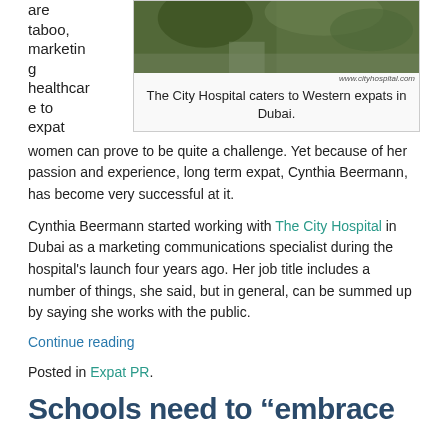are taboo, marketing healthcare to expat
[Figure (photo): Photo of The City Hospital exterior with greenery, www.cityhospital.com watermark]
The City Hospital caters to Western expats in Dubai.
women can prove to be quite a challenge. Yet because of her passion and experience, long term expat, Cynthia Beermann, has become very successful at it.
Cynthia Beermann started working with The City Hospital in Dubai as a marketing communications specialist during the hospital's launch four years ago. Her job title includes a number of things, she said, but in general, can be summed up by saying she works with the public.
Continue reading
Posted in Expat PR.
Schools need to “embrace